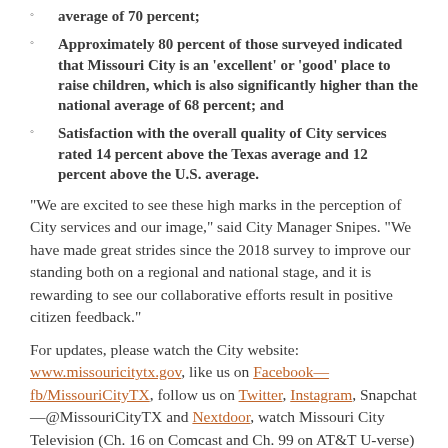average of 70 percent;
Approximately 80 percent of those surveyed indicated that Missouri City is an 'excellent' or 'good' place to raise children, which is also significantly higher than the national average of 68 percent; and
Satisfaction with the overall quality of City services rated 14 percent above the Texas average and 12 percent above the U.S. average.
“We are excited to see these high marks in the perception of City services and our image,” said City Manager Snipes. “We have made great strides since the 2018 survey to improve our standing both on a regional and national stage, and it is rewarding to see our collaborative efforts result in positive citizen feedback.”
For updates, please watch the City website: www.missouricitytx.gov, like us on Facebook—fb/MissouriCityTX, follow us on Twitter, Instagram, Snapchat—@MissouriCityTX and Nextdoor, watch Missouri City Television (Ch. 16 on Comcast and Ch. 99 on AT&T U-verse)